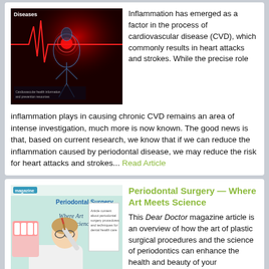[Figure (photo): Medical illustration showing cardiovascular/heart disease with red glowing heart and ECG line on dark background with human figure]
Inflammation has emerged as a factor in the process of cardiovascular disease (CVD), which commonly results in heart attacks and strokes. While the precise role inflammation plays in causing chronic CVD remains an area of intense investigation, much more is now known. The good news is that, based on current research, we know that if we can reduce the inflammation caused by periodontal disease, we may reduce the risk for heart attacks and strokes... Read Article
Periodontal Surgery — Where Art Meets Science
[Figure (illustration): Illustration of a dentist/artist painting teeth, magazine cover for Periodontal Surgery - Where Art Meets Science]
This Dear Doctor magazine article is an overview of how the art of plastic surgical procedures and the science of periodontics can enhance the health and beauty of your mouth. You will learn what periodontal surgery is designed to do, what makes it successful and what to expect during treatment